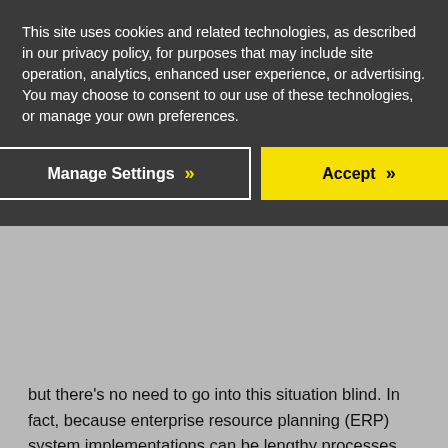This site uses cookies and related technologies, as described in our privacy policy, for purposes that may include site operation, analytics, enhanced user experience, or advertising. You may choose to consent to our use of these technologies, or manage your own preferences.
Manage Settings >>
Accept >>
but there's no need to go into this situation blind. In fact, because enterprise resource planning (ERP) system implementations can be lengthy processes and require the devotion of significant time, energy and funds, it's best to learn all you can about the journey and what your organization must be ready to face.
With this post, we're covering four of the most critical considerations for companies that are in the initial stages of finding the platform that's best for their situation and seeking a provider to work with long-term. By keeping each of these top-of-mind during your selection process, you'll be able to optimize your RFP and maximize your chances for a